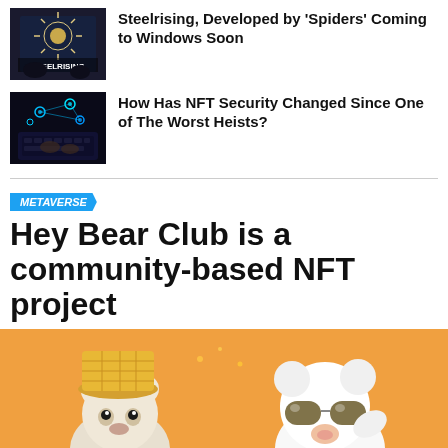[Figure (photo): Steelrising game thumbnail with logo on dark background]
Steelrising, Developed by 'Spiders' Coming to Windows Soon
[Figure (photo): Person at a keyboard with glowing blue digital holographic elements]
How Has NFT Security Changed Since One of The Worst Heists?
METAVERSE
Hey Bear Club is a community-based NFT project
[Figure (illustration): Cartoon bear characters with sunglasses and hat on orange background]